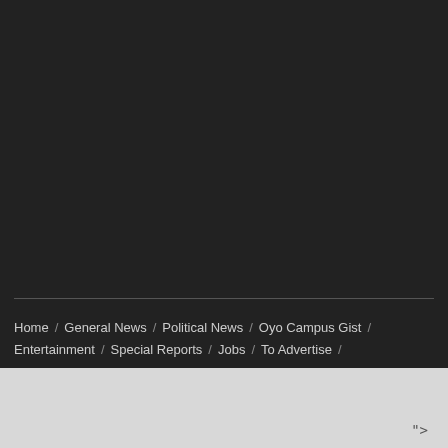Home / General News / Political News / Oyo Campus Gist / Entertainment / Special Reports / Jobs / To Advertise /
">